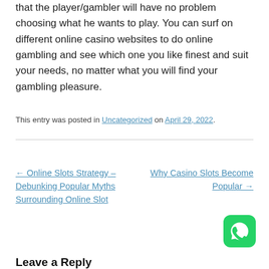that the player/gambler will have no problem choosing what he wants to play. You can surf on different online casino websites to do online gambling and see which one you like finest and suit your needs, no matter what you will find your gambling pleasure.
This entry was posted in Uncategorized on April 29, 2022.
← Online Slots Strategy – Debunking Popular Myths Surrounding Online Slot
Why Casino Slots Become Popular →
[Figure (logo): WhatsApp icon — green rounded square with white phone handset logo]
Leave a Reply